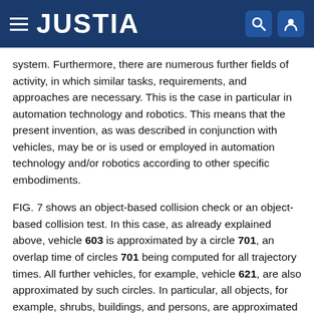JUSTIA
system. Furthermore, there are numerous further fields of activity, in which similar tasks, requirements, and approaches are necessary. This is the case in particular in automation technology and robotics. This means that the present invention, as was described in conjunction with vehicles, may be or is used or employed in automation technology and/or robotics according to other specific embodiments.
FIG. 7 shows an object-based collision check or an object-based collision test. In this case, as already explained above, vehicle 603 is approximated by a circle 701, an overlap time of circles 701 being computed for all trajectory times. All further vehicles, for example, vehicle 621, are also approximated by such circles. In particular, all objects, for example, shrubs, buildings, and persons, are approximated by circles. This